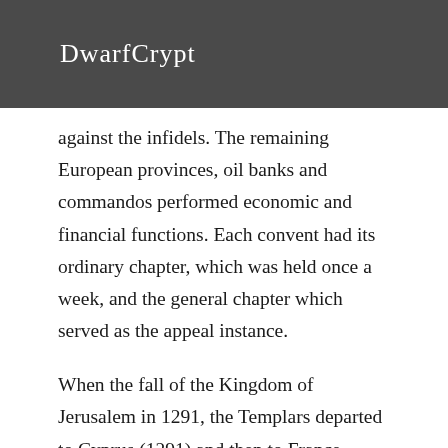DwarfCrypt
against the infidels. The remaining European provinces, oil banks and commandos performed economic and financial functions. Each convent had its ordinary chapter, which was held once a week, and the general chapter which served as the appeal instance.
When the fall of the Kingdom of Jerusalem in 1291, the Templars departed to Cyprus (1291) and then to France.
The French King Philip IV was beautifully indebted to the Templars. On the 13th of October 1307, in order to free himself from his obligations, he imprisoned members of the